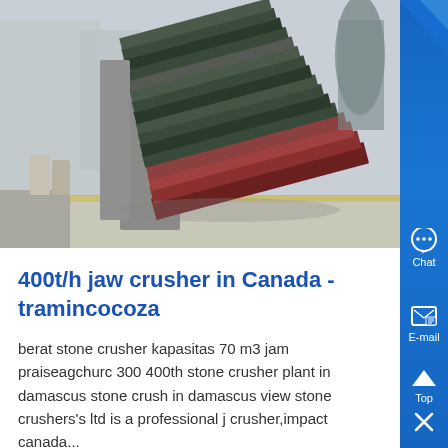[Figure (photo): Photograph of a large industrial jaw crusher machine parked outdoors on a sidewalk/street area, showing the machine's layered plates and structure from a side-angle view.]
400t/h jaw crusher in Canada - tramincocoza
berat stone crusher kapasitas 70 m3 jam praiseagchurc 300 400th stone crusher plant in damascus stone crush in damascus view stone crushers's ltd is a professional j crusher,impact canada...